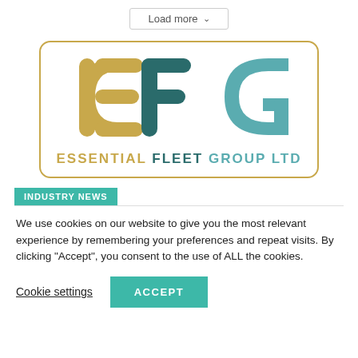Load more
[Figure (logo): Essential Fleet Group Ltd logo with stylized E, F, G letters in gold and teal colors, inside a rounded rectangle border]
INDUSTRY NEWS
We use cookies on our website to give you the most relevant experience by remembering your preferences and repeat visits. By clicking “Accept”, you consent to the use of ALL the cookies.
Cookie settings
ACCEPT